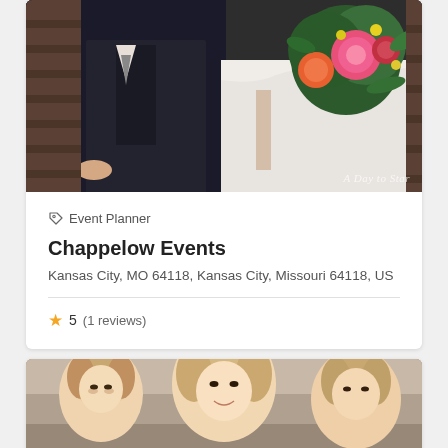[Figure (photo): Wedding photo showing a groom in a dark suit and bride in white dress holding a colorful bouquet with pink peonies, orange flowers, and greenery. Watermark reading 'A Day to Star' in bottom right.]
Event Planner
Chappelow Events
Kansas City, MO 64118, Kansas City, Missouri 64118, US
5  (1 reviews)
[Figure (photo): Photo of three blonde bridesmaids smiling, wearing elegant updo hairstyles.]